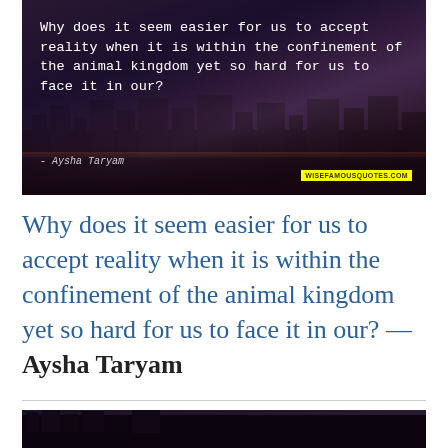[Figure (photo): Dark nighttime cityscape photo with river reflections overlaid with white quote text: 'Why does it seem easier for us to accept reality when it is within the confinement of the animal kingdom yet so hard for us to face it in our?' with attribution '- Aysha Taryam' and wisefamousquotes.com watermark]
Why does it seem easier for us to accept reality when it is within the confinement of the animal kingdom yet so hard for us to face it in our? — Aysha Taryam
[Figure (photo): Dark nighttime cityscape photo, partially visible at bottom of page]